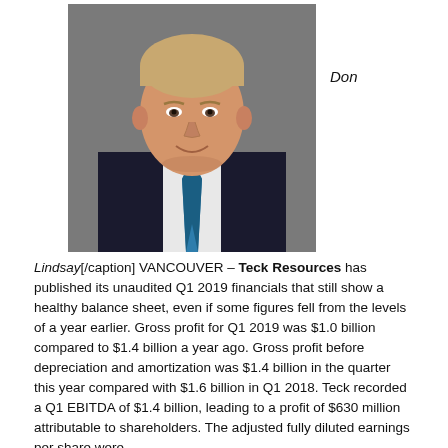[Figure (photo): Professional headshot of Don Lindsay, a man in a dark suit with a blue tie, smiling, against a grey background.]
Don
Lindsay[/caption] VANCOUVER – Teck Resources has published its unaudited Q1 2019 financials that still show a healthy balance sheet, even if some figures fell from the levels of a year earlier. Gross profit for Q1 2019 was $1.0 billion compared to $1.4 billion a year ago. Gross profit before depreciation and amortization was $1.4 billion in the quarter this year compared with $1.6 billion in Q1 2018. Teck recorded a Q1 EBITDA of $1.4 billion, leading to a profit of $630 million attributable to shareholders. The adjusted fully diluted earnings per share were